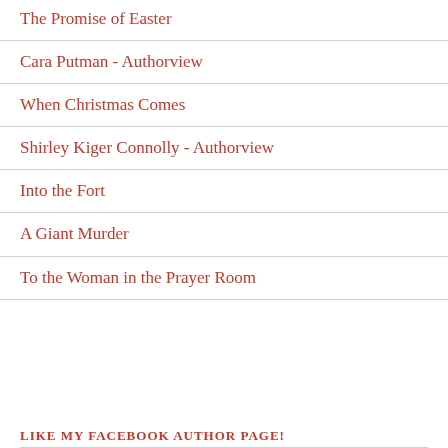The Promise of Easter
Cara Putman - Authorview
When Christmas Comes
Shirley Kiger Connolly - Authorview
Into the Fort
A Giant Murder
To the Woman in the Prayer Room
LIKE MY FACEBOOK AUTHOR PAGE!